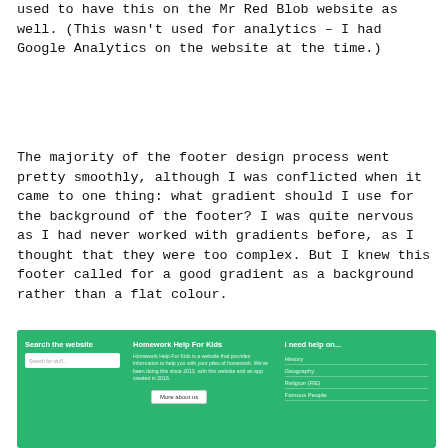used to have this on the Mr Red Blob website as well. (This wasn't used for analytics – I had Google Analytics on the website at the time.)
The majority of the footer design process went pretty smoothly, although I was conflicted when it came to one thing: what gradient should I use for the background of the footer? I was quite nervous as I had never worked with gradients before, as I thought that they were too complex. But I knew this footer called for a good gradient as a background rather than a flat colour.
[Figure (screenshot): A screenshot of a website footer with a green background. Left column: 'Search the website' with a search box labeled 'Search for stuff...'. Middle column: 'Homework Help For Kids' with description text and a 'More about us' button. Right column: 'I need help on...' with navigation links: History, Geography, Religion (RE), Famous People.]